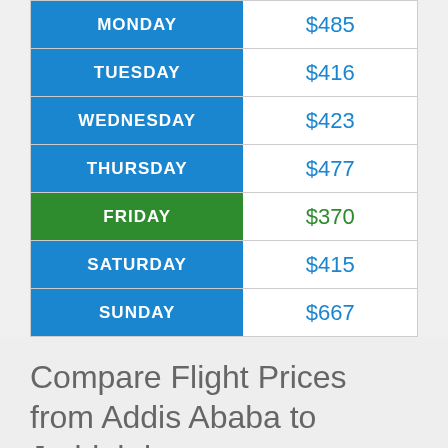| Day | Price |
| --- | --- |
| MONDAY | $485 |
| TUESDAY | $416 |
| WEDNESDAY | $423 |
| THURSDAY | $477 |
| FRIDAY | $370 |
| SATURDAY | $415 |
| SUNDAY | $667 |
Compare Flight Prices from Addis Ababa to Jeddah by